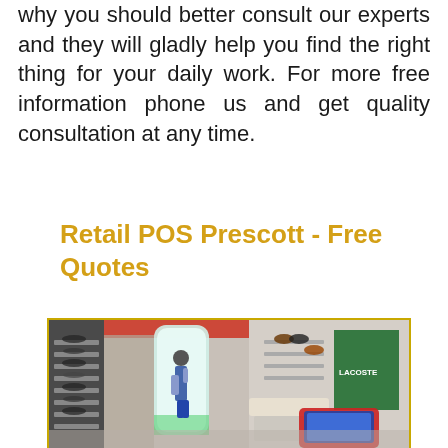why you should better consult our experts and they will gladly help you find the right thing for your daily work. For more free information phone us and get quality consultation at any time.
Retail POS Prescott - Free Quotes
[Figure (photo): Interior of a modern retail store showing display walls with merchandise, a person standing near an illuminated display kiosk, a point-of-sale tablet on a red stand in the foreground, and various shelves with products]